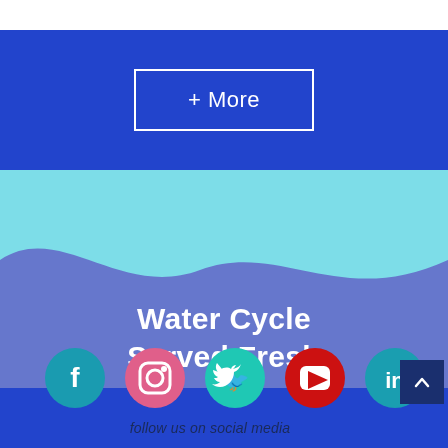[Figure (illustration): Blue header band with a bordered '+ More' button in the center on a blue background]
[Figure (illustration): Wave graphic: cyan top section with a blue wave curve transitioning to a medium blue lower section, with text 'Water Cycle Served Fresh' centered in white bold]
Water Cycle Served Fresh
[Figure (infographic): Footer with five social media icons (Facebook, Instagram, Twitter, YouTube, LinkedIn) and text 'follow us on social media' below in dark blue italic]
follow us on social media